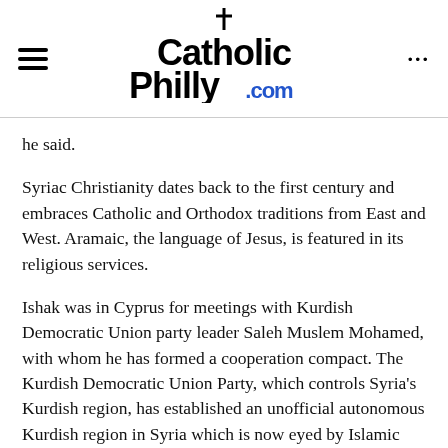CatholicPhilly.com
he said.
Syriac Christianity dates back to the first century and embraces Catholic and Orthodox traditions from East and West. Aramaic, the language of Jesus, is featured in its religious services.
Ishak was in Cyprus for meetings with Kurdish Democratic Union party leader Saleh Muslem Mohamed, with whom he has formed a cooperation compact. The Kurdish Democratic Union Party, which controls Syria’s Kurdish region, has established an unofficial autonomous Kurdish region in Syria which is now eyed by Islamic State as its next conquest.
Both leaders are calling on the world community’s help to stop another Islamic State rampage.